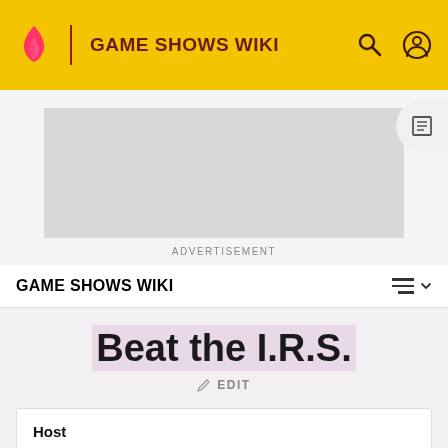GAME SHOWS WIKI
[Figure (screenshot): Advertisement placeholder box (gray rectangle)]
ADVERTISEMENT
GAME SHOWS WIKI
Beat the I.R.S.
EDIT
| Host |
| --- |
| Bob Goen |